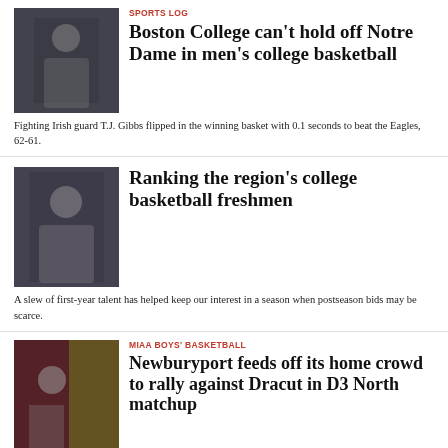SPORTS LOG
Boston College can’t hold off Notre Dame in men’s college basketball
Fighting Irish guard T.J. Gibbs flipped in the winning basket with 0.1 seconds to beat the Eagles, 62-61.
[Figure (photo): Basketball player in white jersey celebrating]
Ranking the region’s college basketball freshmen
A slew of first-year talent has helped keep our interest in a season when postseason bids may be scarce.
[Figure (photo): Basketball player in white jersey on court]
MIAA BOYS’ BASKETBALL
Newburyport feeds off its home crowd to rally against Dracut in D3 North matchup
Energized by their fans, Parker McLaren (23 points) and Jake Robertson (21 points) led the third-seeded Clippers to a 67-57 victory.
[Figure (photo): Basketball players in red and gold jerseys]
JULIAN BENBOW
[Figure (photo): Person portrait photo partially visible]